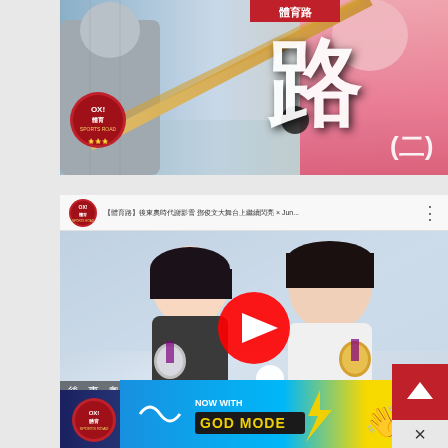[Figure (screenshot): Sports program thumbnail showing a person in pink swinging a bat, with large Chinese character for 'road/lu' and subtitle '(二)' indicating episode 2, with a Sports Road logo badge in corner]
[Figure (screenshot): YouTube video thumbnail showing two athletes (謝影雪 and 鄧俊文) holding medals, with YouTube play button overlay, header bar with channel info, and bottom text bar reading '後東奧時代 謝影雪 鄧俊文大舞台上繼續閃亮']
[Figure (screenshot): Partial third video thumbnail showing dark background with partial Chinese text, scroll-to-top red button, and close X button]
[Figure (screenshot): BitLife advertisement banner at bottom with blue/yellow gradient, BitLife logo, 'NOW WITH GOD MODE' text, question mark and close buttons]